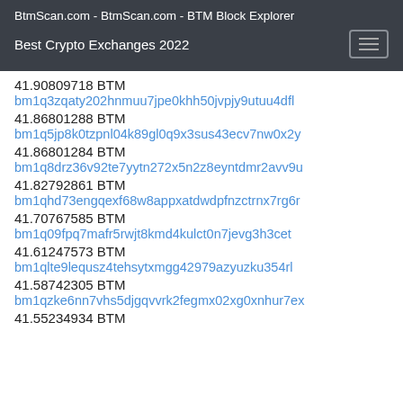BtmScan.com - BtmScan.com - BTM Block Explorer
Best Crypto Exchanges 2022
41.90809718 BTM
bm1q3zqaty202hnmuu7jpe0khh50jvpjy9utuu4dfl
41.86801288 BTM
bm1q5jp8k0tzpnl04k89gl0q9x3sus43ecv7nw0x2y
41.86801284 BTM
bm1q8drz36v92te7yytn272x5n2z8eyntdmr2avv9u
41.82792861 BTM
bm1qhd73engqexf68w8appxatdwdpfnzctrnx7rg6r
41.70767585 BTM
bm1q09fpq7mafr5rwjt8kmd4kulct0n7jevg3h3cet
41.61247573 BTM
bm1qlte9lequsz4tehsytxmgg42979azyuzku354rl
41.58742305 BTM
bm1qzke6nn7vhs5djgqvvrk2fegmx02xg0xnhur7ex
41.55234934 BTM